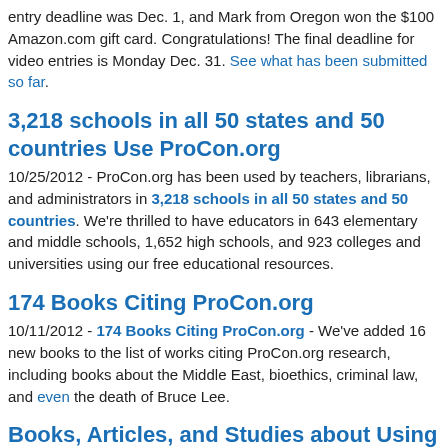entry deadline was Dec. 1, and Mark from Oregon won the $100 Amazon.com gift card. Congratulations! The final deadline for video entries is Monday Dec. 31. See what has been submitted so far.
3,218 schools in all 50 states and 50 countries Use ProCon.org
10/25/2012 - ProCon.org has been used by teachers, librarians, and administrators in 3,218 schools in all 50 states and 50 countries. We're thrilled to have educators in 643 elementary and middle schools, 1,652 high schools, and 923 colleges and universities using our free educational resources.
174 Books Citing ProCon.org
10/11/2012 - 174 Books Citing ProCon.org - We've added 16 new books to the list of works citing ProCon.org research, including books about the Middle East, bioethics, criminal law, and even the death of Bruce Lee.
Books, Articles, and Studies about Using